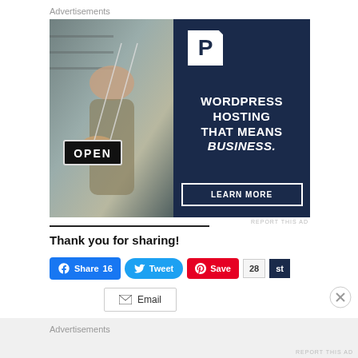Advertisements
[Figure (photo): WordPress hosting advertisement banner. Left half shows a woman holding an OPEN sign in a shop. Right half is dark navy with Pressable logo (P), text 'WORDPRESS HOSTING THAT MEANS BUSINESS.' and a 'LEARN MORE' button.]
REPORT THIS AD
Thank you for sharing!
Share 16
Tweet
Save
28 st
Email
Advertisements